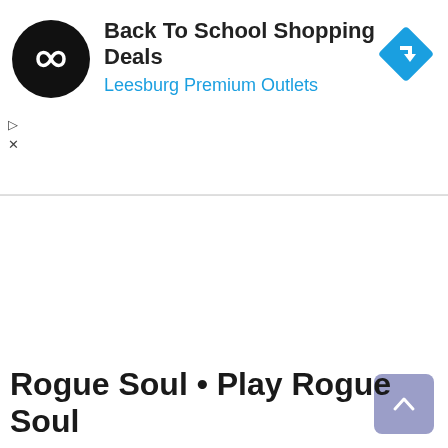[Figure (screenshot): Advertisement banner with circular black logo containing infinity-like white symbol, text 'Back To School Shopping Deals' and 'Leesburg Premium Outlets' in blue, and a blue diamond-shaped navigation icon on the right]
Rogue Soul • Play Rogue Soul